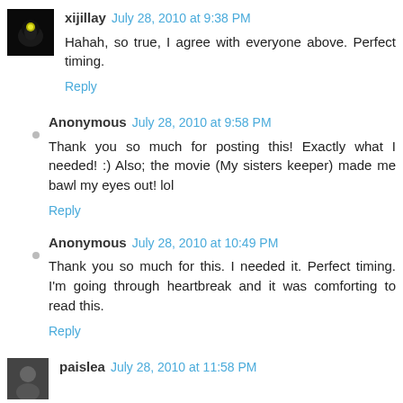xijillay  July 28, 2010 at 9:38 PM
Hahah, so true, I agree with everyone above. Perfect timing.
Reply
Anonymous  July 28, 2010 at 9:58 PM
Thank you so much for posting this! Exactly what I needed! :) Also; the movie (My sisters keeper) made me bawl my eyes out! lol
Reply
Anonymous  July 28, 2010 at 10:49 PM
Thank you so much for this. I needed it. Perfect timing. I'm going through heartbreak and it was comforting to read this.
Reply
paislea  July 28, 2010 at 11:58 PM